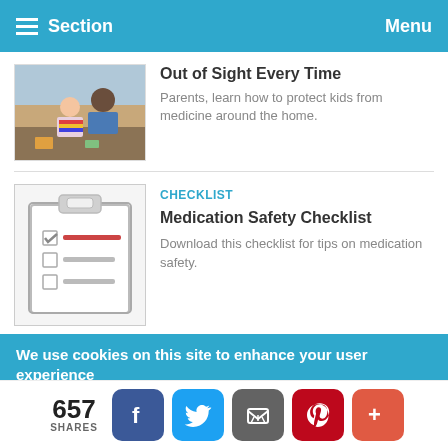Section  Menu
Out of Sight Every Time
Parents, learn how to protect kids from medicine around the home.
CHECKLIST
Medication Safety Checklist
Download this checklist for tips on medication safety.
We use cookies on this site to enhance your user experience
By clicking any link on this page you are giving your consent for us to set cookies. No, give me more info
657 SHARES